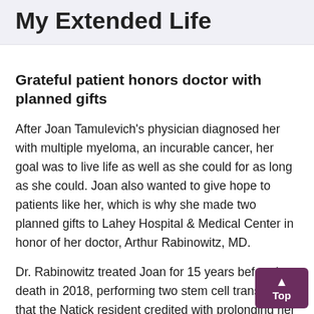My Extended Life
Grateful patient honors doctor with planned gifts
After Joan Tamulevich’s physician diagnosed her with multiple myeloma, an incurable cancer, her goal was to live life as well as she could for as long as she could. Joan also wanted to give hope to patients like her, which is why she made two planned gifts to Lahey Hospital & Medical Center in honor of her doctor, Arthur Rabinowitz, MD.
Dr. Rabinowitz treated Joan for 15 years before her death in 2018, performing two stem cell transplants that the Natick resident credited with prolonging her